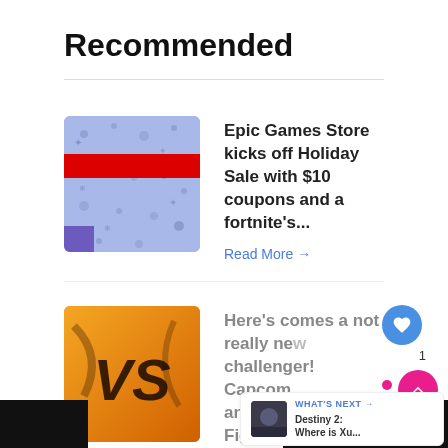Recommended
[Figure (screenshot): Article thumbnail: Holiday-themed blue background with red stripe, Epic Games Store holiday sale]
Epic Games Store kicks off Holiday Sale with $10 coupons and a fortnite's...
Read More →
[Figure (screenshot): Article thumbnail: Street Fighter VS logo on golden/orange background]
Here's comes a not really new challenger! Capcom announces Street Fighter V:...
Read More →
Take a sho't left: There's a
[Figure (screenshot): What's Next panel showing Destiny 2: Where is Xu... with thumbnail]